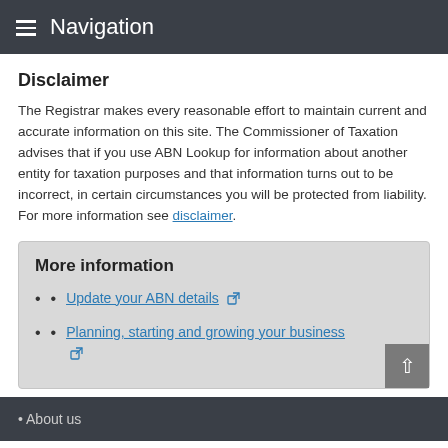Navigation
Disclaimer
The Registrar makes every reasonable effort to maintain current and accurate information on this site. The Commissioner of Taxation advises that if you use ABN Lookup for information about another entity for taxation purposes and that information turns out to be incorrect, in certain circumstances you will be protected from liability. For more information see disclaimer.
More information
Update your ABN details
Planning, starting and growing your business
About us